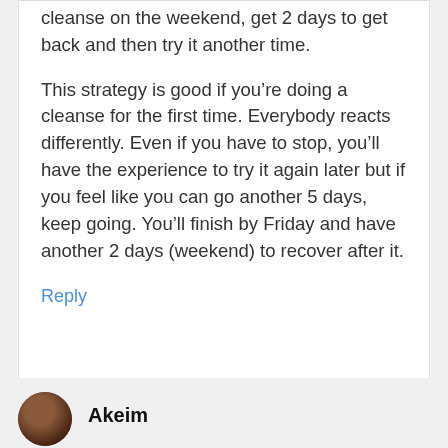cleanse on the weekend, get 2 days to get back and then try it another time.
This strategy is good if you’re doing a cleanse for the first time. Everybody reacts differently. Even if you have to stop, you’ll have the experience to try it again later but if you feel like you can go another 5 days, keep going. You’ll finish by Friday and have another 2 days (weekend) to recover after it.
Reply
Akeim